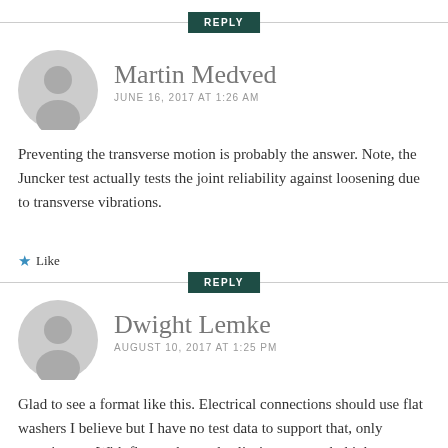[Figure (illustration): Gray circular user avatar for Martin Medved]
Martin Medved
JUNE 16, 2017 AT 1:26 AM
Preventing the transverse motion is probably the answer. Note, the Juncker test actually tests the joint reliability against loosening due to transverse vibrations.
★ Like
REPLY
[Figure (illustration): Gray circular user avatar for Dwight Lemke]
Dwight Lemke
AUGUST 10, 2017 AT 1:25 PM
Glad to see a format like this. Electrical connections should use flat washers I believe but I have no test data to support that, only experiences. With flat washer and split ring approach, higher torque can be